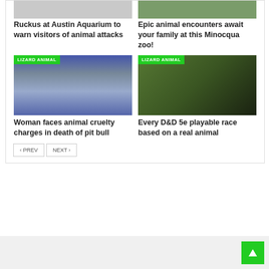[Figure (photo): Top partial image left column - animal/aquarium]
[Figure (photo): Top partial image right column - zoo animals]
Ruckus at Austin Aquarium to warn visitors of animal attacks
Epic animal encounters await your family at this Minocqua zoo!
[Figure (photo): Woman mugshot photo with LIZARD ANIMAL tag]
[Figure (photo): Fantasy D&D lizard creature art with LIZARD ANIMAL tag]
Woman faces animal cruelty charges in death of pit bull
Every D&D 5e playable race based on a real animal